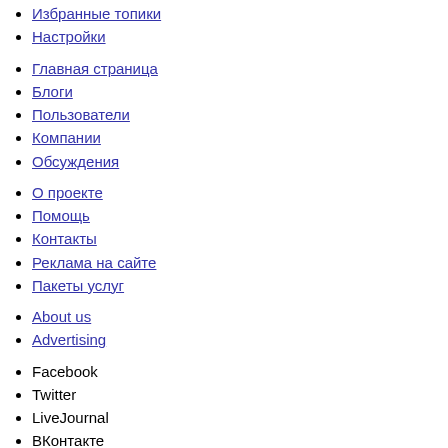Избранные топики
Настройки
Главная страница
Блоги
Пользователи
Компании
Обсуждения
О проекте
Помощь
Контакты
Реклама на сайте
Пакеты услуг
About us
Advertising
Facebook
Twitter
LiveJournal
ВКонтакте
Copyright © 2009-2012 FitnessLive. Все права защищенны.